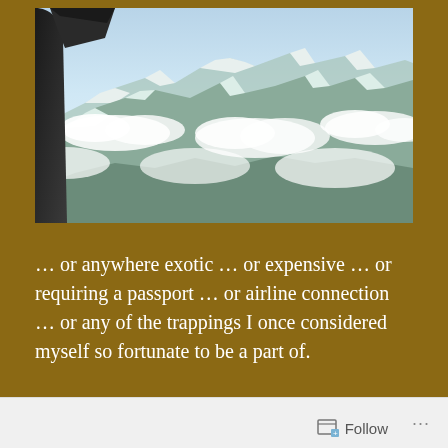[Figure (photo): Aerial view from airplane window showing snow-capped mountains and clouds below, with airplane wing tip visible in upper left corner]
… or anywhere exotic … or expensive … or requiring a passport … or airline connection … or any of the trappings I once considered myself so fortunate to be a part of.
Follow ···